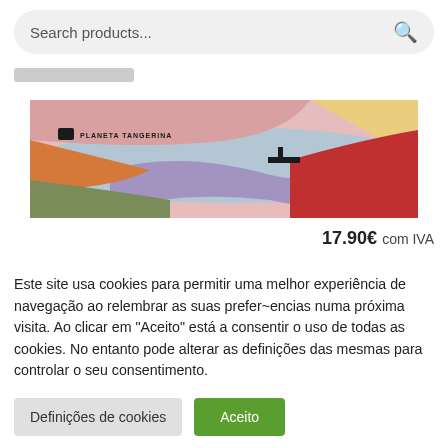Search products...
[Figure (screenshot): Gray placeholder bar below search]
[Figure (illustration): Book cover image showing colorful landscape with Planeta Tangerina logo - abstract waves in pink, orange, blue, red, yellow]
17.90€ com IVA
Este site usa cookies para permitir uma melhor experiência de navegação ao relembrar as suas prefer~encias numa próxima visita. Ao clicar em "Aceito" está a consentir o uso de todas as cookies. No entanto pode alterar as definições das mesmas para controlar o seu consentimento.
Definições de cookies
Aceito